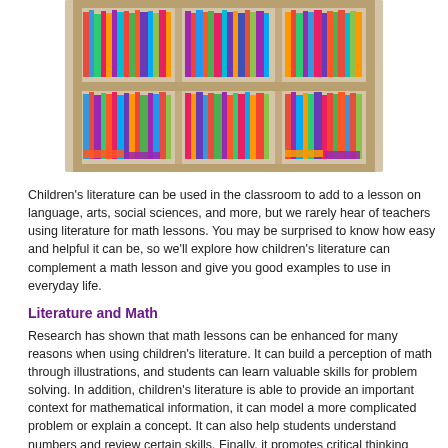[Figure (photo): A colorful bookshelf filled with books arranged in two rows across multiple compartments]
Children's literature can be used in the classroom to add to a lesson on language, arts, social sciences, and more, but we rarely hear of teachers using literature for math lessons. You may be surprised to know how easy and helpful it can be, so we'll explore how children's literature can complement a math lesson and give you good examples to use in everyday life.
Literature and Math
Research has shown that math lessons can be enhanced for many reasons when using children's literature. It can build a perception of math through illustrations, and students can learn valuable skills for problem solving. In addition, children's literature is able to provide an important context for mathematical information, it can model a more complicated problem or explain a concept. It can also help students understand numbers and review certain skills. Finally, it promotes critical thinking among students and makes them more interested in math. When children are able to make concrete math connections in a story they're reading, it immediately makes math more interesting and approachable. They will learn that math is used everywhere around them in daily life, and they can use their skills to connect math concepts to the world.
Children's Books Suggestions